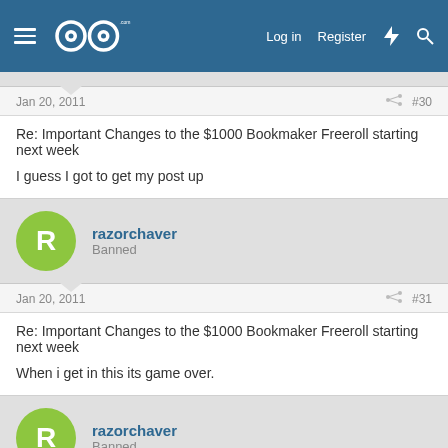GOG.com — Log in | Register
Jan 20, 2011  #30
Re: Important Changes to the $1000 Bookmaker Freeroll starting next week

I guess I got to get my post up
razorchaver — Banned
Jan 20, 2011  #31
Re: Important Changes to the $1000 Bookmaker Freeroll starting next week

When i get in this its game over.
razorchaver — Banned
Jan 20, 2011  #32